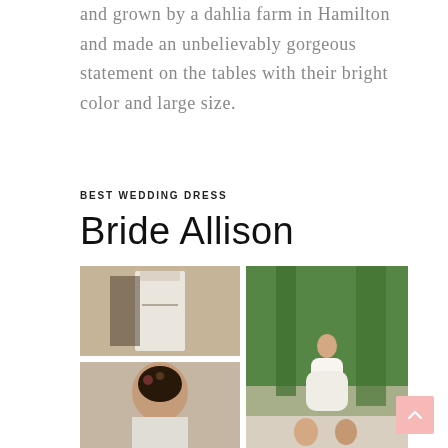and grown by a dahlia farm in Hamilton and made an unbelievably gorgeous statement on the tables with their bright color and large size.
BEST WEDDING DRESS
Bride Allison
[Figure (photo): Collage of four wedding photos: top-left shows a white wedding dress being held up indoors; top-right shows a bride in a white gown standing on a tree-lined path outdoors; bottom-left shows a close-up of a bride with floral hair accessories; bottom-right (partial) shows a couple.]